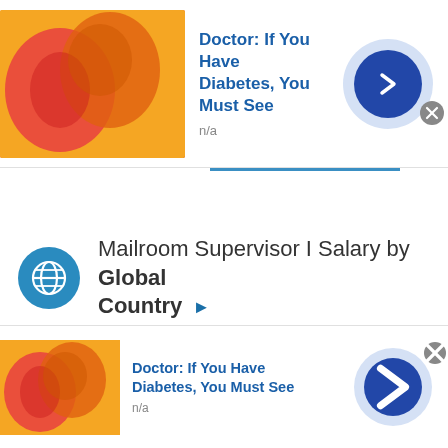[Figure (screenshot): Advertisement banner at top: gummy candy image on left, text 'Doctor: If You Have Diabetes, You Must See' with 'n/a' subtitle, blue arrow button circle on right with close X button]
Mailroom Supervisor I Salary by Global Country ▶
Browse Related Job Categories With Mailroom Supervisor I ▶
This site uses cookies and other similar technologies to provide site functionality, analyze traffic and usage, and
[Figure (screenshot): Advertisement banner at bottom: gummy candy image on left, text 'Doctor: If You Have Diabetes, You Must See' with 'n/a' subtitle, blue arrow button circle on right with close X button]